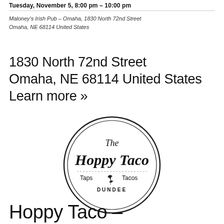Tuesday, November 5, 8:00 pm – 10:00 pm
Maloney's Irish Pub – Omaha, 1830 North 72nd Street Omaha, NE 68114 United States
1830 North 72nd Street Omaha, NE 68114 United States Learn more »
[Figure (logo): The Hoppy Taco circular logo with text: The Hoppy Taco, Taps & Tacos, Dundee]
Hoppy Taco –